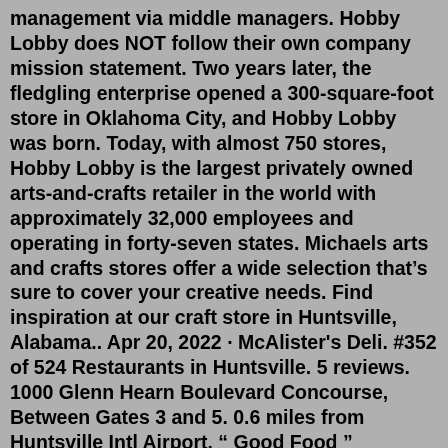management via middle managers. Hobby Lobby does NOT follow their own company mission statement. Two years later, the fledgling enterprise opened a 300-square-foot store in Oklahoma City, and Hobby Lobby was born. Today, with almost 750 stores, Hobby Lobby is the largest privately owned arts-and-crafts retailer in the world with approximately 32,000 employees and operating in forty-seven states. Michaels arts and crafts stores offer a wide selection that's sure to cover your creative needs. Find inspiration at our craft store in Huntsville, Alabama.. Apr 20, 2022 · McAlister's Deli. #352 of 524 Restaurants in Huntsville. 5 reviews. 1000 Glenn Hearn Boulevard Concourse, Between Gates 3 and 5. 0.6 miles from Huntsville Intl Airport. “ Good Food ” 02/20/2021. “ Great service Great food!! ” 08/30/2019. Cuisines: Deli. Hobby Lobby 1030 Old Monrovia Rd NW, Huntsville, AL 35806 (256) 837-3328 Claim this business (256) 837-3328 Directions Sponsored Topics About This Place E-mail Verified: Claim This Business Hotels Nearby view other nearby